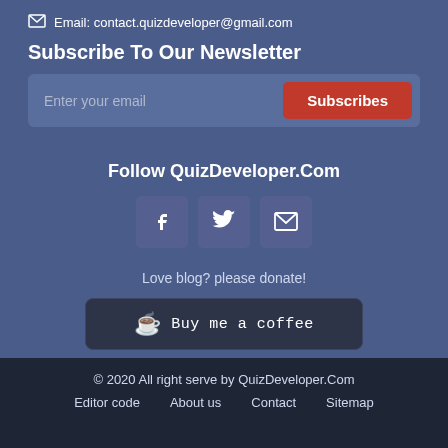Email: contact.quizdeveloper@gmail.com
Subscribe To Our Newsletter
[Figure (screenshot): Email subscription form with placeholder text 'Enter your email' and a red 'Subscribes' button]
Follow QuizDeveloper.Com
[Figure (infographic): Three social media icon boxes: Facebook (f), Twitter (bird), Email (envelope)]
Love blog? please donate!
[Figure (infographic): Dark button with coffee cup emoji and text 'Buy me a coffee']
© 2020 All right serve by QuizDeveloper.Com
Editor code
About us
Contact
Sitemap